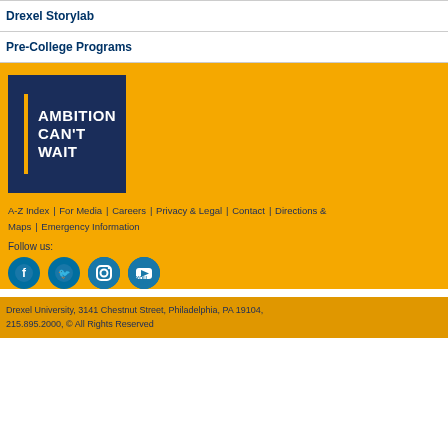Drexel Storylab
Pre-College Programs
[Figure (logo): Drexel University 'Ambition Can't Wait' logo — white text on dark navy background with gold vertical bar accent]
A-Z Index | For Media | Careers | Privacy & Legal | Contact | Directions & Maps | Emergency Information
Follow us:
[Figure (illustration): Four social media icons in blue circles: Facebook, Twitter, Instagram, YouTube]
Drexel University, 3141 Chestnut Street, Philadelphia, PA 19104, 215.895.2000, © All Rights Reserved